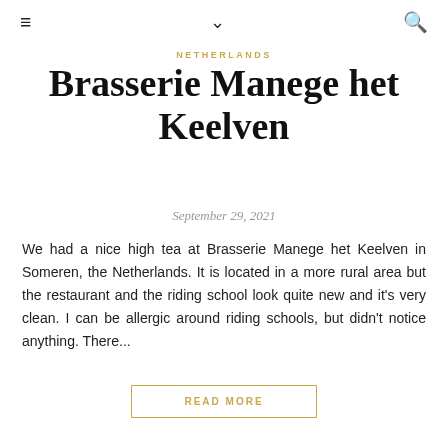≡  ∨  🔍
NETHERLANDS
Brasserie Manege het Keelven
September 29, 2021
We had a nice high tea at Brasserie Manege het Keelven in Someren, the Netherlands. It is located in a more rural area but the restaurant and the riding school look quite new and it's very clean. I can be allergic around riding schools, but didn't notice anything. There...
READ MORE